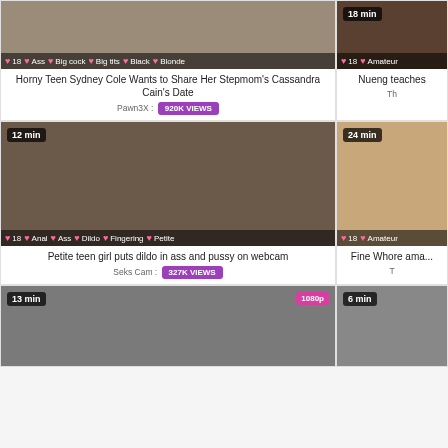[Figure (photo): Thumbnail of Horny Teen Sydney Cole video, tags: 18, Ass, Big cock, Big tits, Black, Blonde, duration not shown]
Horny Teen Sydney Cole Wants to Share Her Stepmom's Cassandra Cain's Date
Pawn3X : 920K VIEWS
[Figure (photo): Thumbnail of Nueng teaches video, tags: 18, Amateur, 24 min]
Nueng teaches
Th
[Figure (photo): Thumbnail of petite teen girl webcam video, 12 min, tags: 18, Anal, Ass, Dildo, Fingering, Petite]
Petite teen girl puts dildo in ass and pussy on webcam
Seks Cam : 327K VIEWS
[Figure (photo): Thumbnail of Fine Whore ama... video, 24 min, tags: 18, Amateur]
Fine Whore ama...
T
[Figure (photo): Thumbnail of video, 13 min, 1080p badge]
[Figure (photo): Thumbnail of video, 6 min]